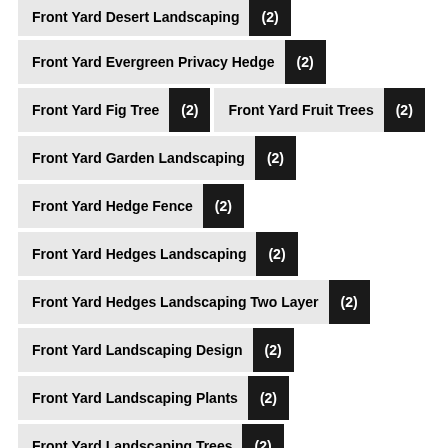Front Yard Desert Landscaping (2)
Front Yard Evergreen Privacy Hedge (2)
Front Yard Fig Tree (2)
Front Yard Fruit Trees (2)
Front Yard Garden Landscaping (2)
Front Yard Hedge Fence (2)
Front Yard Hedges Landscaping (2)
Front Yard Hedges Landscaping Two Layer (2)
Front Yard Landscaping Design (2)
Front Yard Landscaping Plants (2)
Front Yard Landscaping Trees (2)
Front Yard Landscaping around Trees (2)
Front Yard Landscaping with Boulders (2)
Front Yard Palm Trees (2)